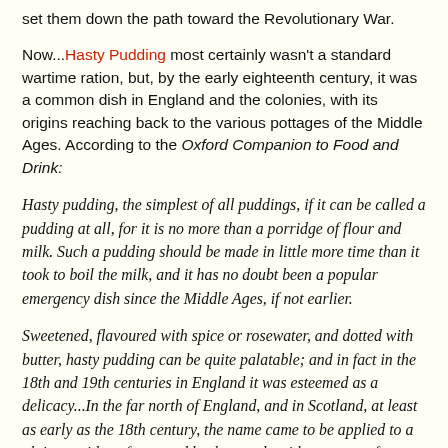set them down the path toward the Revolutionary War.
Now...Hasty Pudding most certainly wasn't a standard wartime ration, but, by the early eighteenth century, it was a common dish in England and the colonies, with its origins reaching back to the various pottages of the Middle Ages. According to the Oxford Companion to Food and Drink:
Hasty pudding, the simplest of all puddings, if it can be called a pudding at all, for it is no more than a porridge of flour and milk. Such a pudding should be made in little more time than it took to boil the milk, and it has no doubt been a popular emergency dish since the Middle Ages, if not earlier.
Sweetened, flavoured with spice or rosewater, and dotted with butter, hasty pudding can be quite palatable; and in fact in the 18th and 19th centuries in England it was esteemed as a delicacy...In the far north of England, and in Scotland, at least as early as the 18th century, the name came to be applied to a plain porridge of oats and barley, made with water as often as milk. In Victorian England...Hasty pudding was sometimes made with oatmeal, or with sago or tapioca.